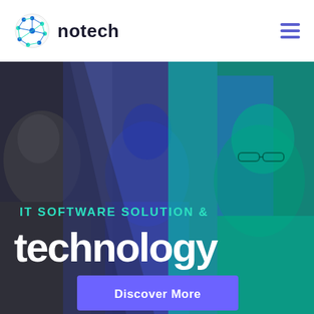[Figure (logo): Notech logo: circular globe icon with blue/teal dots and connecting lines, followed by bold text 'notech' in dark navy]
[Figure (illustration): Hero banner with overlapping images of people in a tech/office setting; left portion is grayscale, center-right has a blue-purple tint, far right has a teal/cyan tint. Diagonal cut divide between grayscale and colored sections.]
IT SOFTWARE SOLUTION &
technology
Discover More